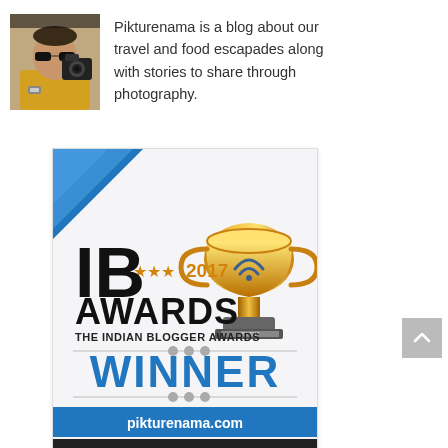[Figure (photo): Profile photo of a person holding a camera, wearing a yellow shirt and watch]
Pikturenama is a blog about our travel and food escapades along with stories to share through photography.
[Figure (illustration): IB Awards 2017 – The Indian Blogger Awards badge showing 'WINNER' in blue text, with a gold trophy, blue ribbon corner, pikturenama.com URL, and TRAVEL category. Bottom partially cut off.]